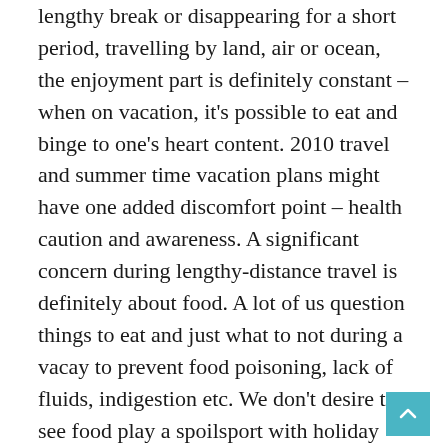lengthy break or disappearing for a short period, travelling by land, air or ocean, the enjoyment part is definitely constant – when on vacation, it's possible to eat and binge to one's heart content. 2010 travel and summer time vacation plans might have one added discomfort point – health caution and awareness. A significant concern during lengthy-distance travel is definitely about food. A lot of us question things to eat and just what to not during a vacay to prevent food poisoning, lack of fluids, indigestion etc. We don't desire to see food play a spoilsport with holiday plans. We want to be guilt-free and stress-free basically we holiday. In the end, haven't all of us earned this break? (Uriel Mont)